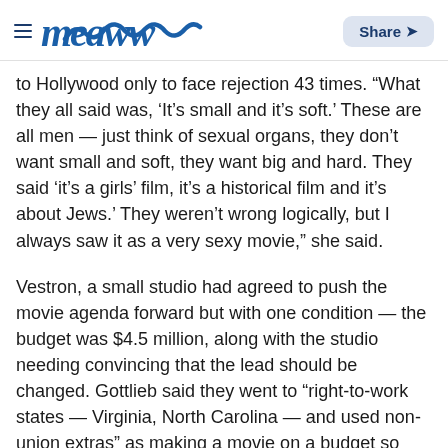meaww | Share
to Hollywood only to face rejection 43 times. “What they all said was, ‘It’s small and it’s soft.’ These are all men — just think of sexual organs, they don’t want small and soft, they want big and hard. They said ‘it’s a girls’ film, it’s a historical film and it’s about Jews.’ They weren’t wrong logically, but I always saw it as a very sexy movie,” she said.
Vestron, a small studio had agreed to push the movie agenda forward but with one condition — the budget was $4.5 million, along with the studio needing convincing that the lead should be changed. Gottlieb said they went to “right-to-work states — Virginia, North Carolina — and used non-union extras” as making a movie on a budget so tight